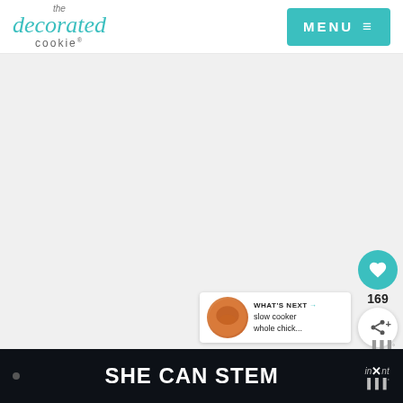the decorated cookie — MENU
[Figure (screenshot): Light grey empty content area taking up the main body of the page]
[Figure (infographic): Heart (like) button in teal circle showing 169 likes, and a share button below it]
[Figure (infographic): What's Next widget showing a thumbnail and text 'slow cooker whole chick...']
169
[Figure (infographic): Bottom dark banner with bullet, SHE CAN STEM text, and in×nt logo with mediavine dots]